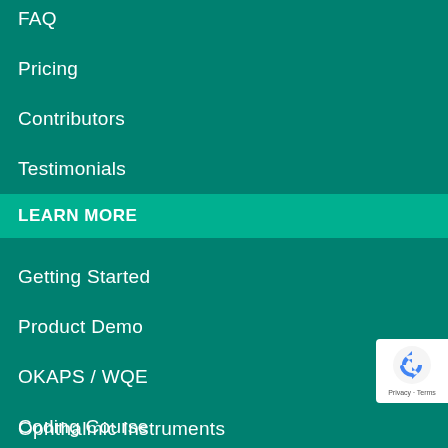FAQ
Pricing
Contributors
Testimonials
LEARN MORE
Getting Started
Product Demo
OKAPS / WQE
Coding Course
[Figure (logo): reCAPTCHA badge with Privacy and Terms text]
Ophthalmic Instruments